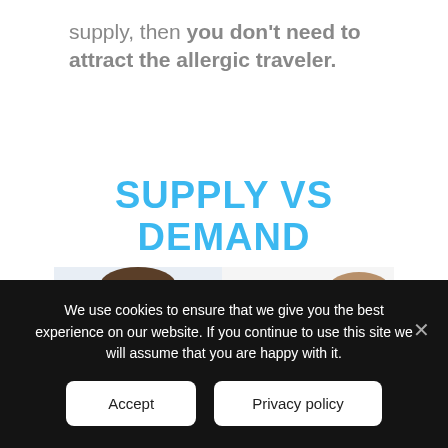supply, then you don't need to attract the allergic traveler.
[Figure (infographic): Infographic showing 'SUPPLY VS DEMAND' in bold blue text at top, with a man blowing his nose on the left side and a woman hugging a golden retriever dog on the right side.]
We use cookies to ensure that we give you the best experience on our website. If you continue to use this site we will assume that you are happy with it.